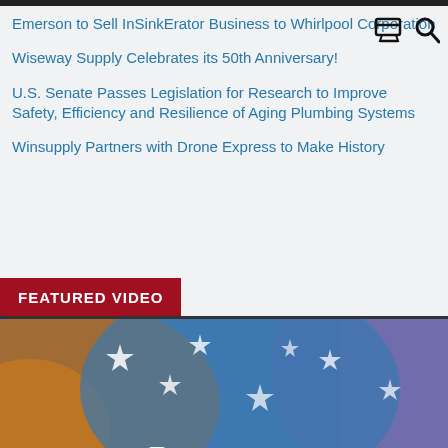Emerson to Sell InSinkErator Business to Whirlpool Corporation
Wiseway Supply Celebrates its 50th Anniversary!
U.S. Senate Passes Legislation for Research to Improve Safety, Efficiency and Resilience of Aging Plumbing Systems
Winsupply Partners with Drone Express to Make History
FEATURED VIDEO
[Figure (photo): Featured video thumbnail showing American flag with stars and partial orange text logo at bottom]